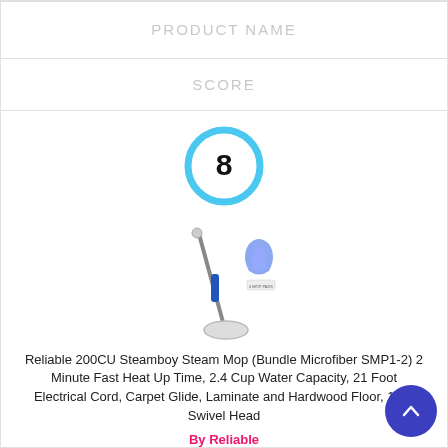PRODUCT NAME
SCORE
[Figure (infographic): Score badge showing number 8 inside a blue circle ring]
[Figure (photo): Reliable 200CU Steamboy Steam Mop product image with microfiber pad]
Reliable 200CU Steamboy Steam Mop (Bundle Microfiber SMP1-2) 2 Minute Fast Heat Up Time, 2.4 Cup Water Capacity, 21 Foot Electrical Cord, Carpet Glide, Laminate and Hardwood Floor, 180° Swivel Head
By Reliable